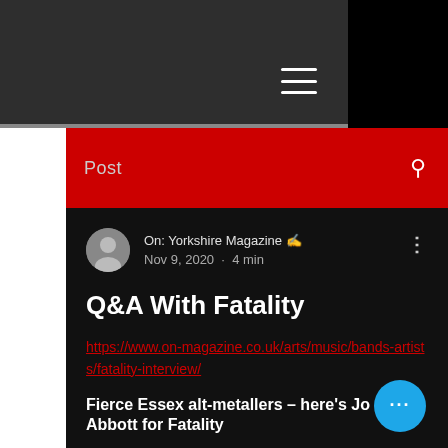[Figure (screenshot): Dark gray top navigation header with hamburger menu icon (three horizontal white lines)]
Post
On: Yorkshire Magazine ✏ Nov 9, 2020 · 4 min
Q&A With Fatality
https://www.on-magazine.co.uk/arts/music/bands-artists/fatality-interview/
Fierce Essex alt-metallers – here's Jo Abbott for Fatality